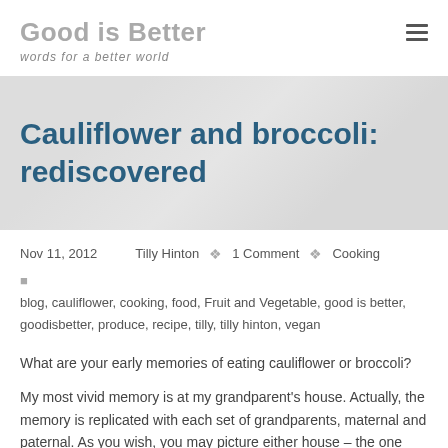Good is Better
words for a better world
Cauliflower and broccoli: rediscovered
Nov 11, 2012    Tilly Hinton    1 Comment    Cooking
blog, cauliflower, cooking, food, Fruit and Vegetable, good is better, goodisbetter, produce, recipe, tilly, tilly hinton, vegan
What are your early memories of eating cauliflower or broccoli?
My most vivid memory is at my grandparent's house. Actually, the memory is replicated with each set of grandparents, maternal and paternal. As you wish, you may picture either house – the one